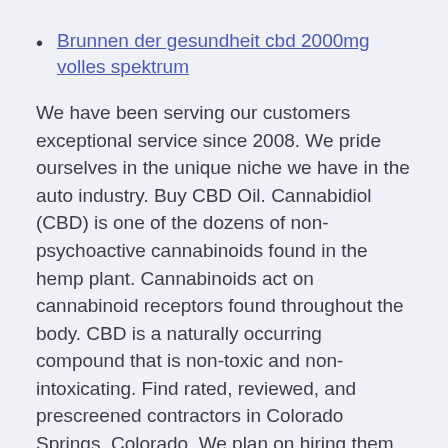Brunnen der gesundheit cbd 2000mg volles spektrum
We have been serving our customers exceptional service since 2008. We pride ourselves in the unique niche we have in the auto industry. Buy CBD Oil. Cannabidiol (CBD) is one of the dozens of non-psychoactive cannabinoids found in the hemp plant. Cannabinoids act on cannabinoid receptors found throughout the body. CBD is a naturally occurring compound that is non-toxic and non-intoxicating. Find rated, reviewed, and prescreened contractors in Colorado Springs, Colorado. We plan on hiring them again!